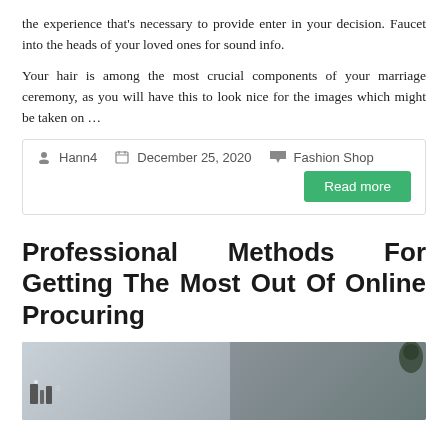the experience that's necessary to provide enter in your decision. Faucet into the heads of your loved ones for sound info.
Your hair is among the most crucial components of your marriage ceremony, as you will have this to look nice for the images which might be taken on …
Hann4   December 25, 2020   Fashion Shop   Read more
Professional Methods For Getting The Most Out Of Online Procuring
[Figure (photo): People browsing in a fashion shop, interior retail scene with women looking at displays]